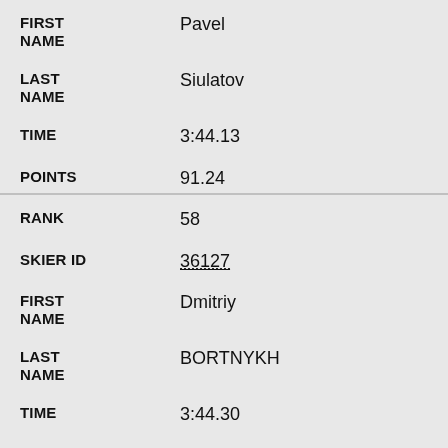| Field | Value |
| --- | --- |
| FIRST NAME | Pavel |
| LAST NAME | Siulatov |
| TIME | 3:44.13 |
| POINTS | 91.24 |
| RANK | 58 |
| SKIER ID | 36127 |
| FIRST NAME | Dmitriy |
| LAST NAME | BORTNYKH |
| TIME | 3:44.30 |
| POINTS | 91.17 |